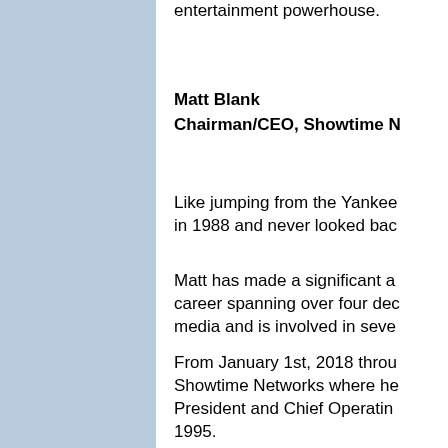entertainment powerhouse.
Matt Blank
Chairman/CEO, Showtime N
Like jumping from the Yankee in 1988 and never looked bac
Matt has made a significant a career spanning over four dec media and is involved in seve
From January 1st, 2018 throu Showtime Networks where he President and Chief Operatin 1995.